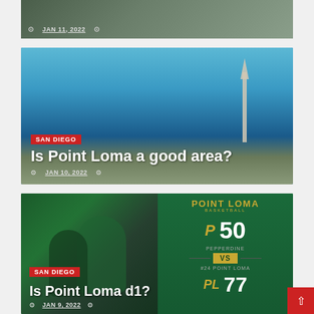[Figure (photo): Aerial view of a neighborhood, partially visible at the top of the page. Shows date JAN 11, 2022.]
[Figure (photo): Scenic photo of Point Loma with blue sky and the Cabrillo monument visible on the right. City and bay in background.]
SAN DIEGO
Is Point Loma a good area?
JAN 10, 2022
[Figure (photo): Basketball game image showing Point Loma players celebrating, overlaid with a scorecard: Point Loma Basketball, Pepperdine 50 vs #24 Point Loma 77.]
SAN DIEGO
Is Point Loma d1?
JAN 9, 2022